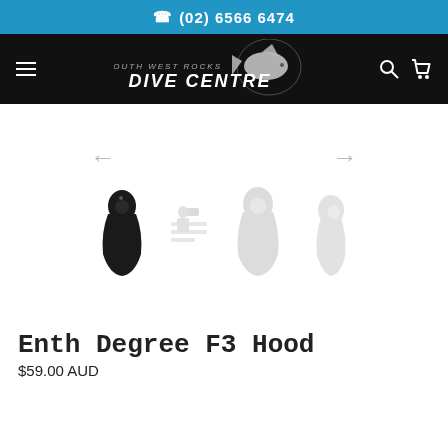(02) 6566 6474
[Figure (logo): South West Rocks Dive Centre logo with shark illustration on black background, with hamburger menu, search and cart icons]
[Figure (photo): Product image gallery showing Enth Degree F3 Hood balaclava diving hood. One dark/black version shown prominently, plus three faded/grey thumbnail versions showing different views]
Enth Degree F3 Hood
$59.00 AUD